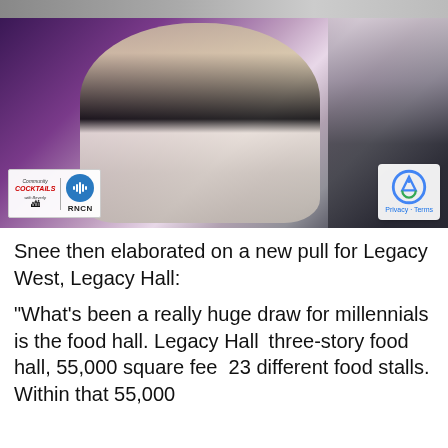[Figure (photo): Video screenshot of a woman laughing during a TV interview, with Community Cocktails with Beverly and RNCN logos overlaid at the bottom left]
Snee then elaborated on a new pull for Legacy West, Legacy Hall:
“What’s been a really huge draw for millennials is the food hall. Legacy Hall three-story food hall, 55,000 square feet 23 different food stalls. Within that 55,000